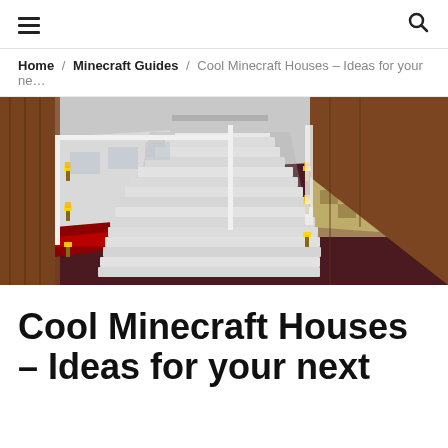≡   🔍
Home / Minecraft Guides / Cool Minecraft Houses – Ideas for your ne...
[Figure (screenshot): Minecraft interior screenshot showing a grand staircase in a large building interior with dark red/maroon floor, white walls, wooden beams, gold torches, and a checkered floor area to the right.]
Cool Minecraft Houses – Ideas for your next